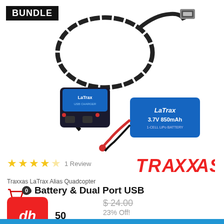[Figure (photo): LaTrax USB charger with cable and 3.7V 850mAh 1-cell LiPo battery product photo on white background]
BUNDLE
★★★★★ 1 Review
[Figure (logo): Traxxas logo in red stylized font]
Traxxas LaTrax Alias Quadcopter
o Battery & Dual Port USB
$24.00
23% Off!
SOLD OUT